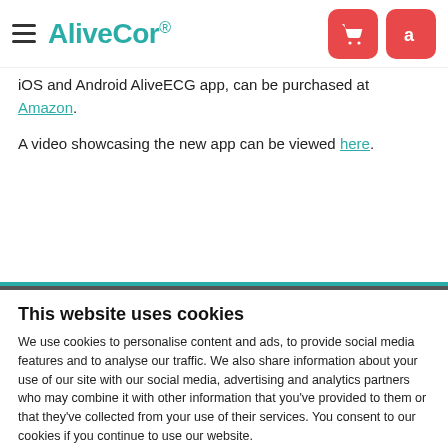AliveCor
iOS and Android AliveECG app, can be purchased at Amazon.
A video showcasing the new app can be viewed here.
This website uses cookies
We use cookies to personalise content and ads, to provide social media features and to analyse our traffic. We also share information about your use of our site with our social media, advertising and analytics partners who may combine it with other information that you've provided to them or that they've collected from your use of their services. You consent to our cookies if you continue to use our website.
Allow all cookies
Show details